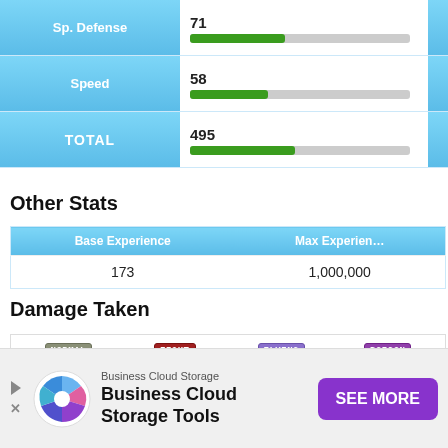| Stat | Value | Bar |  |
| --- | --- | --- | --- |
| Sp. Defense | 71 |  |  |
| Speed | 58 |  |  |
| TOTAL | 495 |  |  |
Other Stats
| Base Experience | Max Experience |
| --- | --- |
| 173 | 1,000,000 |
Damage Taken
| Type | Multiplier |
| --- | --- |
| NORMAL | 1x |
| FIGHT | 2x |
| FLYING | 2x |
| POISON | 1x |
| GRASS | 1x |
| ELECTR | 1x |
[Figure (infographic): Advertisement banner for Business Cloud Storage Tools with logo, text, and purple SEE MORE button]